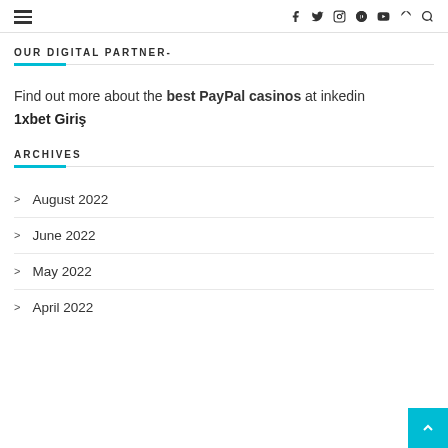≡  f  y  instagram  pinterest  youtube  rss  search
OUR DIGITAL PARTNER-
Find out more about the best PayPal casinos at inkedin
1xbet Giriş
ARCHIVES
August 2022
June 2022
May 2022
April 2022